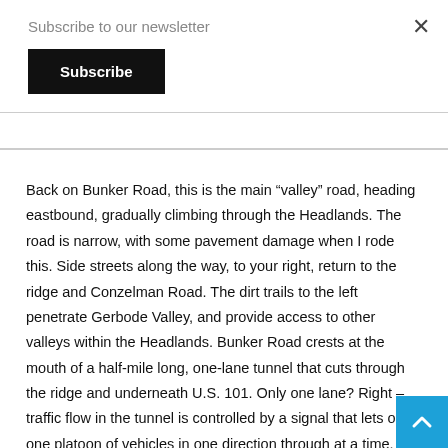Subscribe to our newsletter
Subscribe
×
Back on Bunker Road, this is the main “valley” road, heading eastbound, gradually climbing through the Headlands. The road is narrow, with some pavement damage when I rode this. Side streets along the way, to your right, return to the ridge and Conzelman Road. The dirt trails to the left penetrate Gerbode Valley, and provide access to other valleys within the Headlands. Bunker Road crests at the mouth of a half-mile long, one-lane tunnel that cuts through the ridge and underneath U.S. 101. Only one lane? Right – traffic flow in the tunnel is controlled by a signal that lets only one platoon of vehicles in one direction through at a time. Bicyclists need not wait for the signal, however. A concrete pushbutton for cyclists